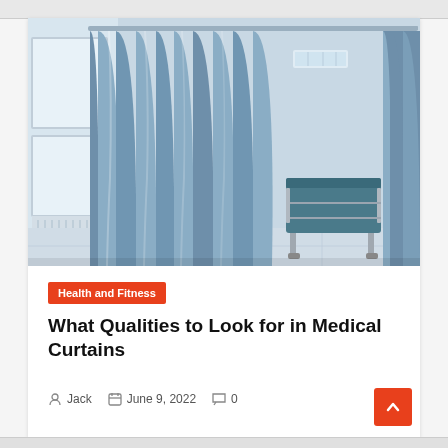[Figure (photo): Hospital room with blue privacy curtains hanging from ceiling rails, a hospital bed visible in the background, tiled floor, and natural light coming through windows on the left side.]
Health and Fitness
What Qualities to Look for in Medical Curtains
Jack   June 9, 2022   0